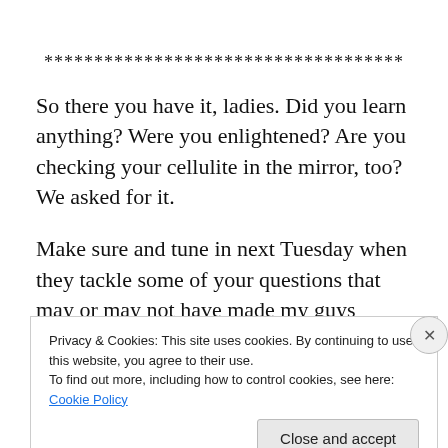************************************
So there you have it, ladies. Did you learn anything? Were you enlightened? Are you checking your cellulite in the mirror, too?  We asked for it.
Make sure and tune in next Tuesday when they tackle some of your questions that may or may not have made my guys blush.
Privacy & Cookies: This site uses cookies. By continuing to use this website, you agree to their use.
To find out more, including how to control cookies, see here: Cookie Policy
Close and accept